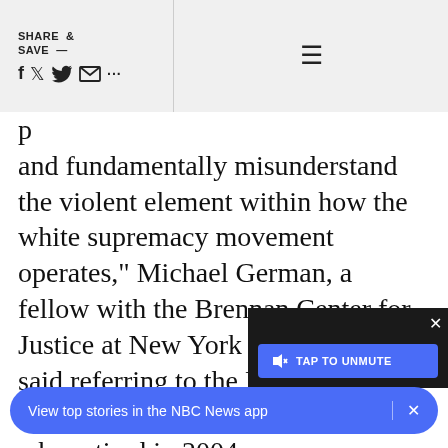SHARE & SAVE —
and fundamentally misunderstand the violent element within how the white supremacy movement operates," Michael German, a fellow with the Brennan Center for Justice at New York University, said referring to the Department of Justice. He is a former un[dercover agent] who retired in 2004.
[Figure (screenshot): Video player widget with TAP TO UNMUTE button and close X button, dark background]
View top stories in the NBC News app